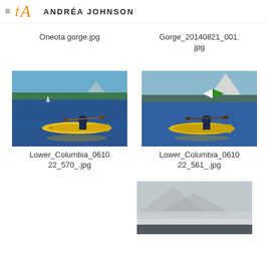ANDRÉA JOHNSON
Oneota gorge.jpg
Gorge_20140821_001.jpg
[Figure (photo): Person kayaking in a yellow kayak on water, trees and mountains in background]
Lower_Columbia_061022_570_.jpg
[Figure (photo): Person kayaking in a yellow kayak on water, sailboat and mountain in background]
Lower_Columbia_061022_561_.jpg
[Figure (photo): Partial view of a misty mountain scene]